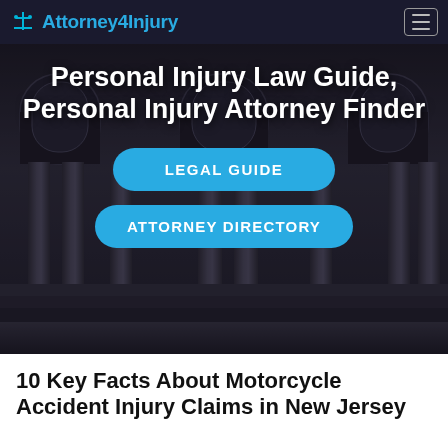Attorney4Injury
[Figure (screenshot): Hero section with courthouse background featuring tall columns and arched windows, overlaid with large white text title 'Personal Injury Law Guide, Personal Injury Attorney Finder' and two teal rounded buttons: 'LEGAL GUIDE' and 'ATTORNEY DIRECTORY']
10 Key Facts About Motorcycle Accident Injury Claims in New Jersey